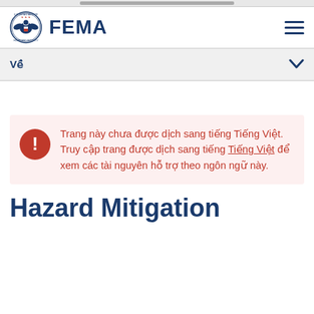FEMA
Về
Trang này chưa được dịch sang tiếng Tiếng Việt. Truy cập trang được dịch sang tiếng Tiếng Việt để xem các tài nguyên hỗ trợ theo ngôn ngữ này.
Hazard Mitigation